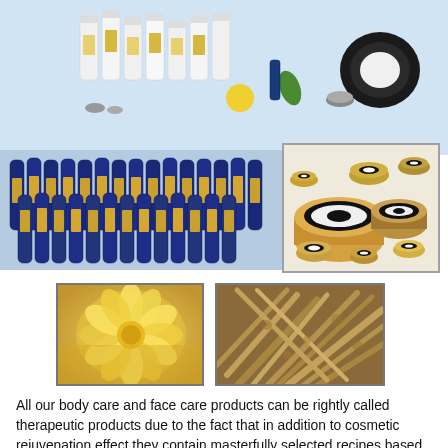[Figure (photo): Top banner photo showing an assortment of white cosmetic bottles and containers with colorful labels on a light blue background]
[Figure (photo): A row of dark blue glass bottles with gold/cork labels arranged in lines, set against a light blue background]
[Figure (photo): Framed inset photo showing a collection of round gold/bronze cosmetic jars and compacts with black and white circular labels]
[Figure (photo): Close-up photo of a yellow chrysanthemum or marigold flower, soft focus]
[Figure (photo): Close-up photo of dried herb sticks or roots with mottled coloring]
All our body care and face care products can be rightly called therapeutic products due to the fact that in addition to cosmetic rejuvenation effect they contain masterfully selected recipes based on natural components.